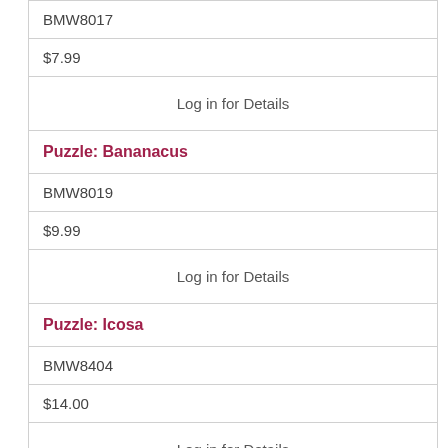| BMW8017 |
| $7.99 |
| Log in for Details |
| Puzzle: Bananacus |
| BMW8019 |
| $9.99 |
| Log in for Details |
| Puzzle: Icosa |
| BMW8404 |
| $14.00 |
| Log in for Details |
| Puzzle: Cats Playing Chess 1000pc |